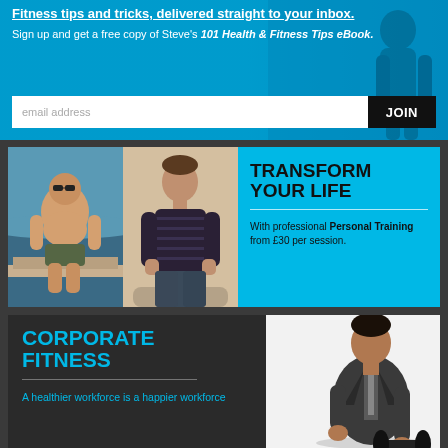Fitness tips and tricks, delivered straight to your inbox.
Sign up and get a free copy of Steve's 101 Health & Fitness Tips eBook.
[Figure (screenshot): Email signup form with text input field labeled 'email address' and a black JOIN button]
[Figure (photo): Before and after photos of a man - left photo shows overweight man at beach/sea, right photo shows same man slimmer in striped polo shirt]
TRANSFORM YOUR LIFE
With professional Personal Training from £30 per session.
CORPORATE FITNESS
A healthier workforce is a happier workforce
[Figure (photo): Man in business suit lifting a heavy dumbbell, shown against white background]